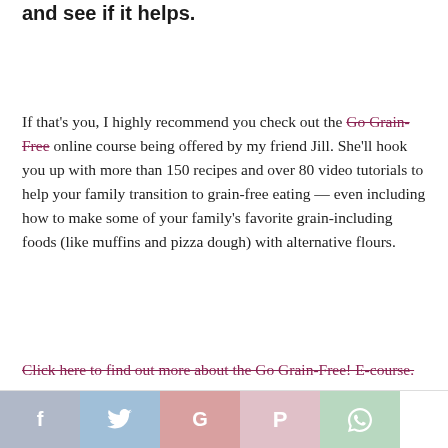and see if it helps.
If that's you, I highly recommend you check out the Go Grain-Free online course being offered by my friend Jill. She'll hook you up with more than 150 recipes and over 80 video tutorials to help your family transition to grain-free eating — even including how to make some of your family's favorite grain-including foods (like muffins and pizza dough) with alternative flours.
Click here to find out more about the Go Grain-Free! E-course.
[Figure (other): Social sharing buttons: Facebook (f), Twitter (bird), Google (G), Pinterest (P), WhatsApp (phone)]